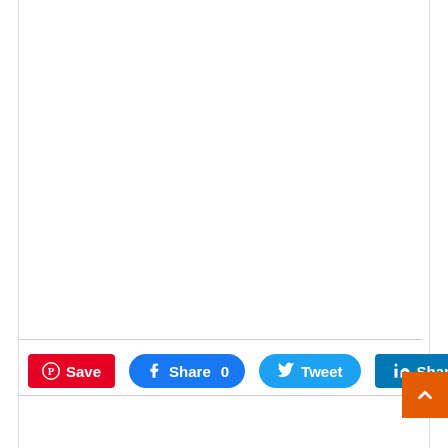[Figure (screenshot): Social sharing buttons bar at the bottom of a webpage, with Pinterest Save, Facebook Share 0, Twitter Tweet, and LinkedIn Share buttons]
Save  Share 0  Tweet  Share